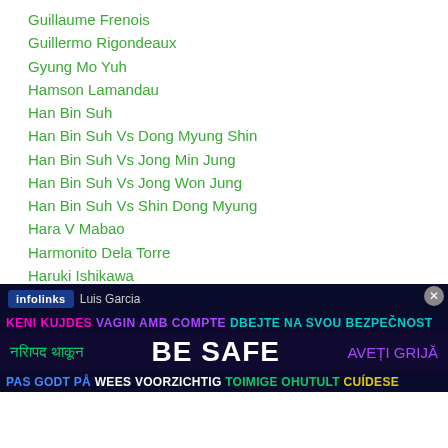Guillaume Frenois
Guillermo Rigondeaux
Gyung Mo Yuh
Hamson Lamandau
Han Bin Suh
Han Bin Suh Vs Dong Myung Shin
Han Bin Suh Vs Jong Min Jung
Han Bin Suh Vs Jong Won Jung
Han Bin Suh Vs Shin Dong Myung
Hara V Mabao
Harmonito Dela Torre
Haruki Ishikawa
Hasanboy Dusmatov
HBO
Heavyweight
Luis Garcia
[Figure (infographic): Infolinks advertisement banner with multilingual 'BE SAFE' message in various languages and colors on dark background]